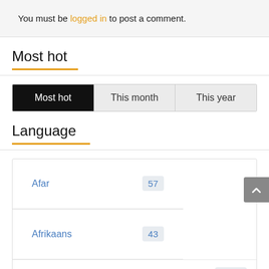You must be logged in to post a comment.
Most hot
| Most hot | This month | This year |
| --- | --- | --- |
Language
| Language | Count |
| --- | --- |
| Afar | 57 |
| Afrikaans | 43 |
| Arabic | 7279 |